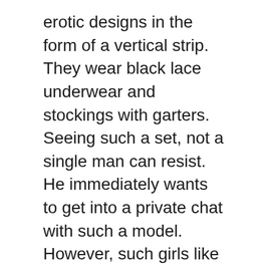erotic designs in the form of a vertical strip. They wear black lace underwear and stockings with garters. Seeing such a set, not a single man can resist. He immediately wants to get into a private chat with such a model. However, such girls like to be in charge, so the man is completely submissive to her.
Erotic games with VR girls will be a pleasure if they have something to diversify. Every model loves when a man turns on, but this requires a twist. Well-groomed girls always keep their cleanliness and special haircut. For some, everything is perfectly smooth there, and some like to experiment and thus turn on their clients even more. Beautiful VR models with intimate haircuts can turn guys